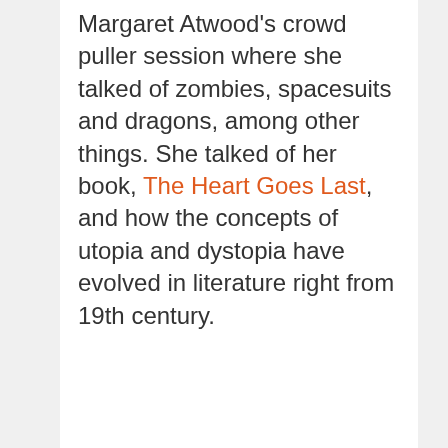Margaret Atwood's crowd puller session where she talked of zombies, spacesuits and dragons, among other things. She talked of her book, The Heart Goes Last, and how the concepts of utopia and dystopia have evolved in literature right from 19th century.